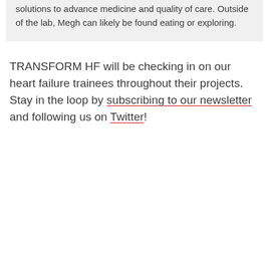solutions to advance medicine and quality of care. Outside of the lab, Megh can likely be found eating or exploring.
TRANSFORM HF will be checking in on our heart failure trainees throughout their projects. Stay in the loop by subscribing to our newsletter and following us on Twitter!